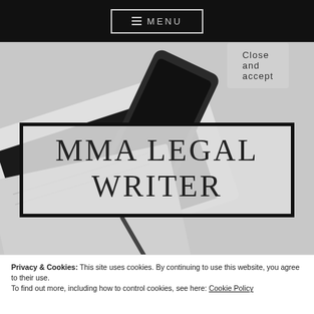≡ MENU
[Figure (photo): Black and white photo of a laptop, smartphone, and notebook on a desk, serving as hero background image]
MMA LEGAL WRITER
Privacy & Cookies: This site uses cookies. By continuing to use this website, you agree to their use.
To find out more, including how to control cookies, see here: Cookie Policy
Close and accept